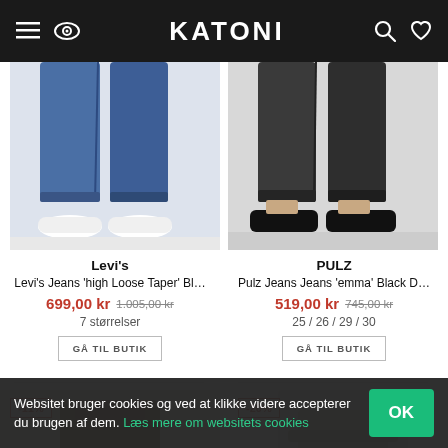KATONI
[Figure (photo): Product photo: lower half of person wearing blue jeans with white sneakers on white background]
[Figure (photo): Product photo: lower half of person wearing dark/black jeans with black loafers on light background]
Levi's
Levi's Jeans 'high Loose Taper' Bl…
699,00 kr  1.005,00 kr
7 størrelser
GÅ TIL BUTIK
PULZ
Pulz Jeans Jeans 'emma' Black D…
519,00 kr  745,00 kr
25 / 26 / 29 / 30
GÅ TIL BUTIK
[Figure (photo): Partial product photo: brown/tan item with -11% badge]
[Figure (photo): Partial product photo: light colored item with -20% badge]
Websitet bruger cookies og ved at klikke videre accepterer du brugen af dem. Læs mere om websitets cookies